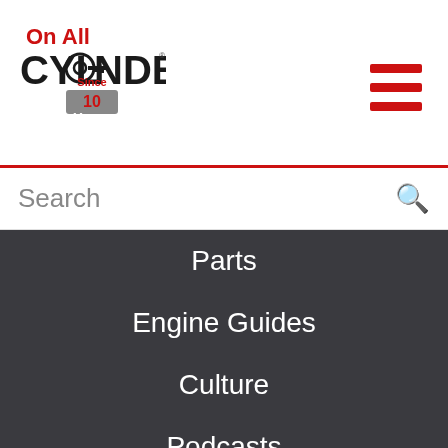[Figure (logo): On All Cylinders logo with '10 Years' badge, red and black text on white background]
Search
Parts
Engine Guides
Culture
Podcasts
Videos
Trending Stories
Contact